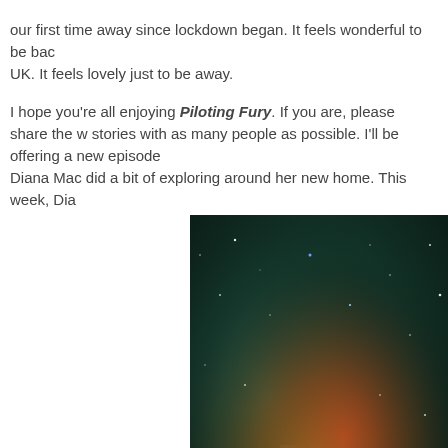our first time away since lockdown began. It feels wonderful to be back in the UK. It feels lovely just to be away.
I hope you're all enjoying Piloting Fury. If you are, please share the word. stories with as many people as possible. I'll be offering a new episode. Diana Mac did a bit of exploring around her new home. This week, Dia
[Figure (photo): Nebula/space photograph showing colorful cosmic clouds with stars, orange and teal tones]
Privacy & Cookies: This site uses cookies. By continuing to use this website, you agree to their use. To find out more, including how to control cookies, see here: Cookie Policy
Close and accept